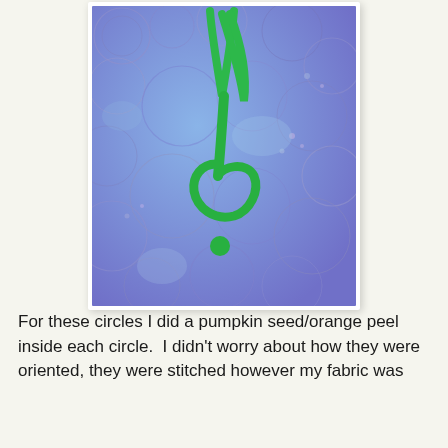[Figure (illustration): A textile or fabric artwork showing a green treble clef / spiral plant motif on a blue-purple batik background with circular patterns.]
For these circles I did a pumpkin seed/orange peel inside each circle.  I didn't worry about how they were oriented, they were stitched however my fabric was